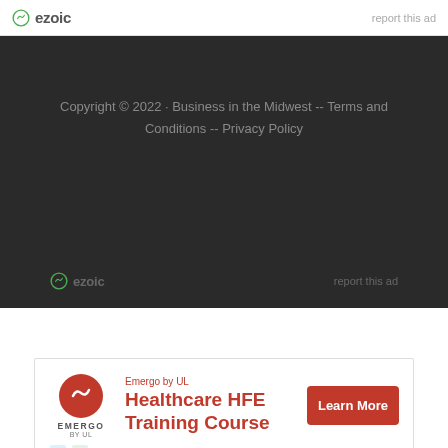ezoic  report this ad
Copyright © 2022 · Business in the Midwest -- Terms and Conditions -- Privacy Policy
ezoic  report this ad
[Figure (infographic): Emergo by UL advertisement banner: Healthcare HFE Training Course with Learn More button]
Emergo by UL – Healthcare HFE Training Course – Learn More